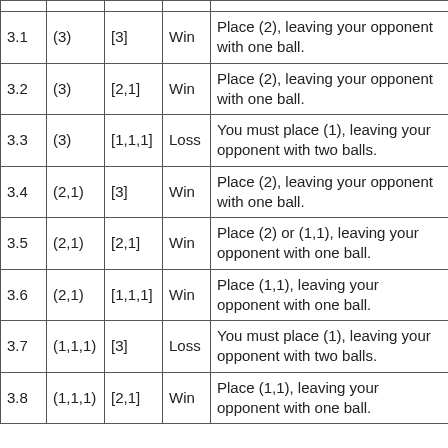|  |  |  |  |  |
| --- | --- | --- | --- | --- |
| 3.1 | (3) | [3] | Win | Place (2), leaving your opponent with one ball. |
| 3.2 | (3) | [2,1] | Win | Place (2), leaving your opponent with one ball. |
| 3.3 | (3) | [1,1,1] | Loss | You must place (1), leaving your opponent with two balls. |
| 3.4 | (2,1) | [3] | Win | Place (2), leaving your opponent with one ball. |
| 3.5 | (2,1) | [2,1] | Win | Place (2) or (1,1), leaving your opponent with one ball. |
| 3.6 | (2,1) | [1,1,1] | Win | Place (1,1), leaving your opponent with one ball. |
| 3.7 | (1,1,1) | [3] | Loss | You must place (1), leaving your opponent with two balls. |
| 3.8 | (1,1,1) | [2,1] | Win | Place (1,1), leaving your opponent with one ball. |